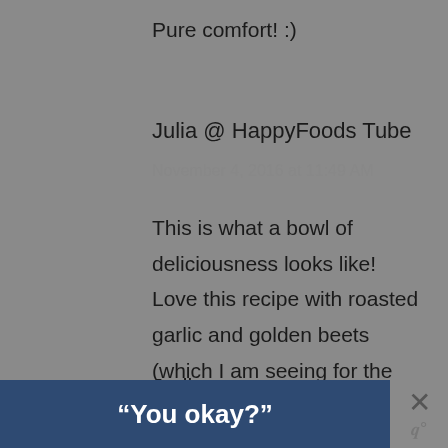Pure comfort! :)
Julia @ HappyFoods Tube
November 4, 2016 at 11:49 AM
This is what a bowl of deliciousness looks like! Love this recipe with roasted garlic and golden beets (which I am seeing for the first time in my life)!
Jodi
“You okay?”